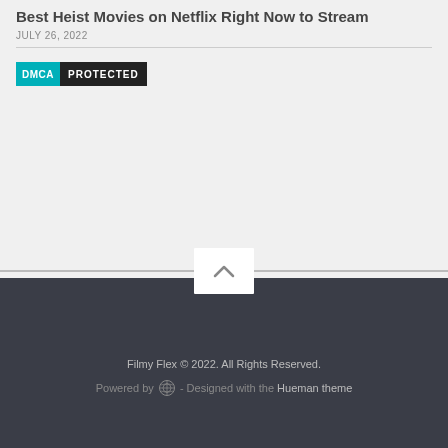Best Heist Movies on Netflix Right Now to Stream
JULY 26, 2022
[Figure (logo): DMCA Protected badge with cyan left panel reading DMCA and dark right panel reading PROTECTED]
[Figure (other): Scroll-to-top button with upward chevron arrow on white background]
Filmy Flex © 2022. All Rights Reserved.
Powered by WordPress - Designed with the Hueman theme